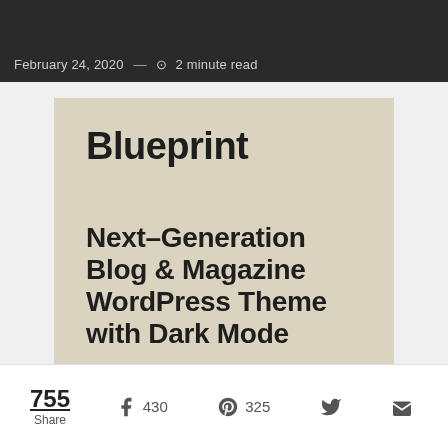February 24, 2020 — 2 minute read
[Figure (screenshot): A beige/tan card showing 'Blueprint' in large bold text and 'Next-Generation Blog & Magazine WordPress Theme with Dark Mode' below it, partially cropped]
755 Share
430
325